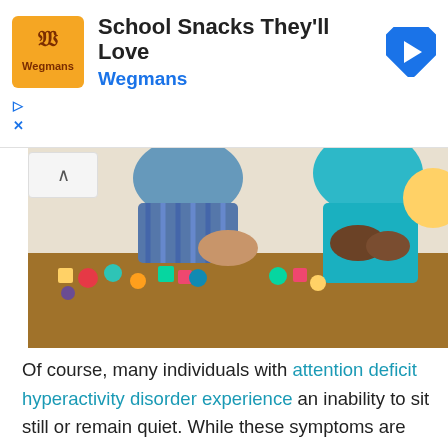[Figure (other): Advertisement banner for Wegmans 'School Snacks They'll Love' with orange logo, navigation arrow icon, play/close controls]
[Figure (photo): Children playing with colorful toy blocks at a table in a classroom setting]
Of course, many individuals with attention deficit hyperactivity disorder experience an inability to sit still or remain quiet. While these symptoms are often more controlled in adult ADHD patients than children, they can be frustrating and anxiety-inducing nonetheless. There are a few ways to combat this. Meditation can be helpful for both mood and fidgetiness and should be considered for both. It may also be useful to schedule regular breaks in activity to allow patients the time to stretch and walk around. This satisfies their impulse for movement while keeping it to controlled times. Finally, it may be useful to consign